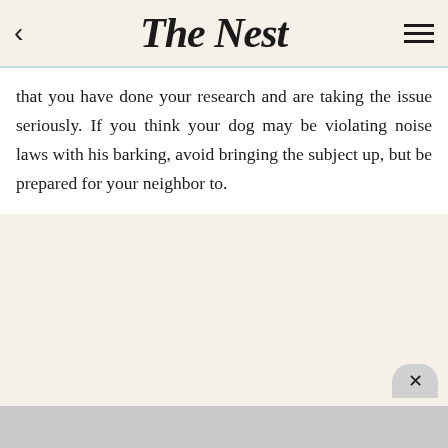The Nest
that you have done your research and are taking the issue seriously. If you think your dog may be violating noise laws with his barking, avoid bringing the subject up, but be prepared for your neighbor to.